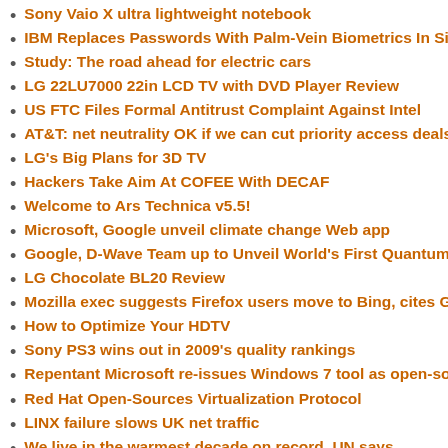Sony Vaio X ultra lightweight notebook
IBM Replaces Passwords With Palm-Vein Biometrics In Single
Study: The road ahead for electric cars
LG 22LU7000 22in LCD TV with DVD Player Review
US FTC Files Formal Antitrust Complaint Against Intel
AT&T: net neutrality OK if we can cut priority access deals
LG's Big Plans for 3D TV
Hackers Take Aim At COFEE With DECAF
Welcome to Ars Technica v5.5!
Microsoft, Google unveil climate change Web app
Google, D-Wave Team up to Unveil World's First Quantum Ima
LG Chocolate BL20 Review
Mozilla exec suggests Firefox users move to Bing, cites Goog
How to Optimize Your HDTV
Sony PS3 wins out in 2009's quality rankings
Repentant Microsoft re-issues Windows 7 tool as open-source
Red Hat Open-Sources Virtualization Protocol
LINX failure slows UK net traffic
We live in the warmest decade on record, UN says
Hands on with Mac Chrome beta: incomplete but looking good
Mozilla lets Thunderbird 3 fly
MSI launches multitouch PC
Bank Login Stealing Trojan Threat Grows
Product Watch: Voice Encryption Firm Offers $250K In Gold To
Battery made of paper charges up
Microsoft kills $150 Windows 7 Family Pack deal